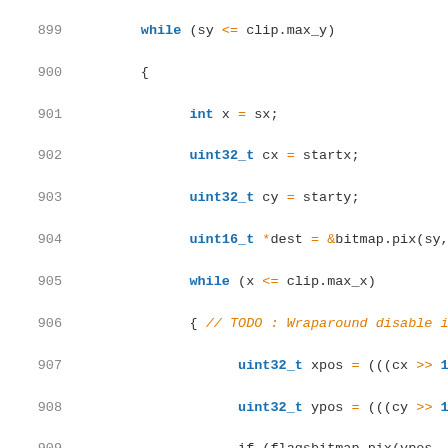[Figure (screenshot): Source code listing in C++ with syntax highlighting. Lines 899-925 shown. Keywords in blue bold, operators and comments in orange, numbers in blue bold, regular code in dark gray. White background. Line numbers in gray on left.]